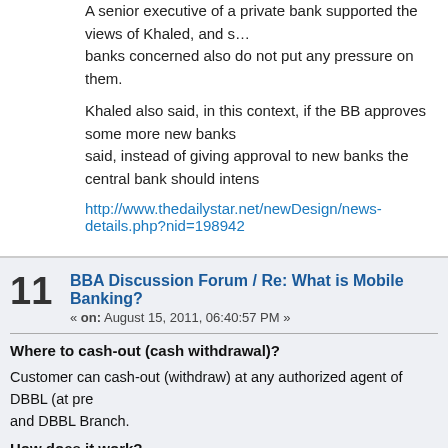A senior executive of a private bank supported the views of Khaled, and said banks concerned also do not put any pressure on them.
Khaled also said, in this context, if the BB approves some more new banks said, instead of giving approval to new banks the central bank should intens
http://www.thedailystar.net/newDesign/news-details.php?nid=198942
BBA Discussion Forum / Re: What is Mobile Banking?
« on: August 15, 2011, 06:40:57 PM »
Where to cash-out (cash withdrawal)?
Customer can cash-out (withdraw) at any authorized agent of DBBL (at pre and DBBL Branch.
How does it work?
Customer asks the Agent for withdrawal of an amount from his/her mobil
Agent initiates the transaction from his/her mobile
Agent gets prompt menu and in reply agent enters customerâ€™s m and amount to withdraw
DBBL system sends prompt menu to the customerâ€™s mobile (or XXXX  from your mobile account with DBBL. If you want to continue, please enter y
Customer enters his/her PIN